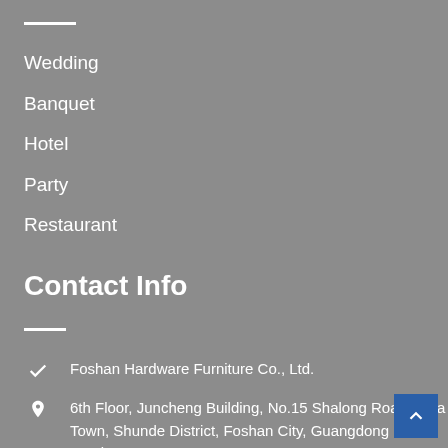Wedding
Banquet
Hotel
Party
Restaurant
Contact Info
Foshan Hardware Furniture Co., Ltd.
6th Floor, Juncheng Building, No.15 Shalong Road, Xingjia Town, Shunde District, Foshan City, Guangdong Province,